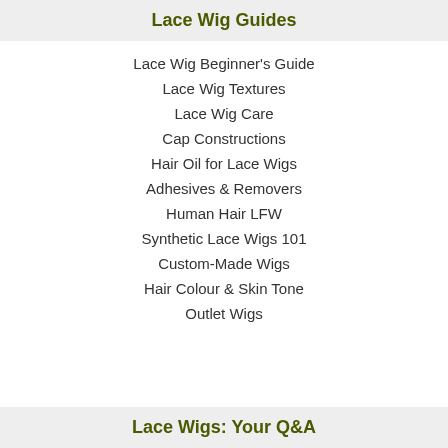Lace Wig Guides
Lace Wig Beginner's Guide
Lace Wig Textures
Lace Wig Care
Cap Constructions
Hair Oil for Lace Wigs
Adhesives & Removers
Human Hair LFW
Synthetic Lace Wigs 101
Custom-Made Wigs
Hair Colour & Skin Tone
Outlet Wigs
Lace Wigs: Your Q&A